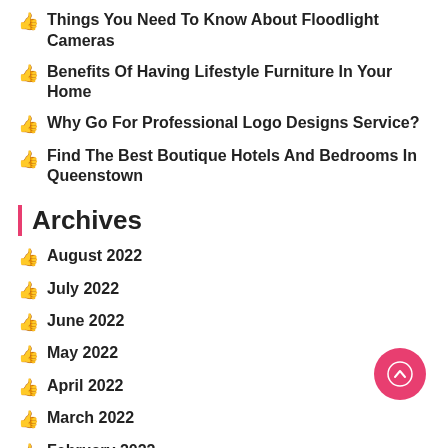Things You Need To Know About Floodlight Cameras
Benefits Of Having Lifestyle Furniture In Your Home
Why Go For Professional Logo Designs Service?
Find The Best Boutique Hotels And Bedrooms In Queenstown
Archives
August 2022
July 2022
June 2022
May 2022
April 2022
March 2022
February 2022
January 2022